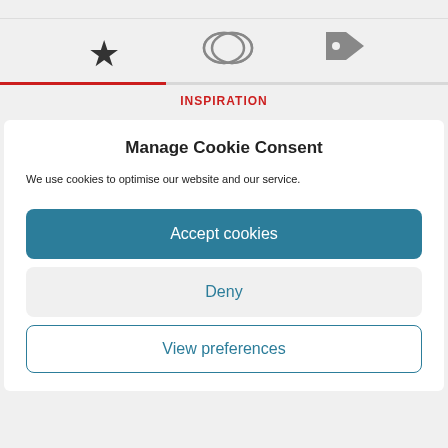[Figure (screenshot): Navigation tab icons: star (active), speech bubble, tag/label icon with a red underline under the first tab and grey line under the rest]
INSPIRATION
Manage Cookie Consent
We use cookies to optimise our website and our service.
Accept cookies
Deny
View preferences